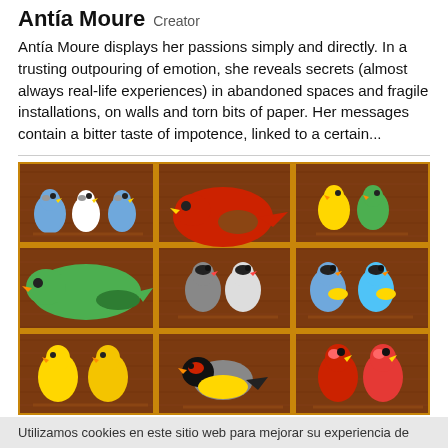Antía Moure Creator
Antía Moure displays her passions simply and directly. In a trusting outpouring of emotion, she reveals secrets (almost always real-life experiences) in abandoned spaces and fragile installations, on walls and torn bits of paper. Her messages contain a bitter taste of impotence, linked to a certain...
[Figure (illustration): A colorful folk-art style painting showing nine framed panels arranged in a 3×3 grid. Each panel on a dark reddish-brown wooden background depicts painted birds: top row shows blue/white birds, red/brown birds, and yellow/green birds; middle row shows a large green bird, black/white birds, and blue/yellow birds; bottom row shows yellow birds, a goldfinch-style bird, and red parrots.]
Antía Ballesteros Moure Creator
Utilizamos cookies en este sitio web para mejorar su experiencia de